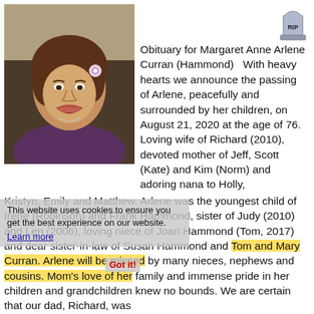[Figure (photo): Black and white photograph of Margaret Anne Arlene Curran (Hammond), a young woman smiling, wearing a purple top, with a flower in her hair.]
Obituary for Margaret Anne Arlene Curran (Hammond)   With heavy hearts we announce the passing of Arlene, peacefully and surrounded by her children, on August 21, 2020 at the age of 76. Loving wife of Richard (2010), devoted mother of Jeff, Scott (Kate) and Kim (Norm) and adoring nana to Holly, Kristyn, Emily and Matthew. Arlene was the youngest child of Irene (Robinson) and Frank Hammond, sister of Judy (2010) and Len (2006), loving niece of Joan Hammond (Tom, 2017) and dear sister-in-law of Susan Hammond and Tom and Mary Curran. Arlene will be missed by many nieces, nephews and cousins. Mom's love of her family and immense pride in her children and grandchildren knew no bounds. We are certain that our dad, Richard, was